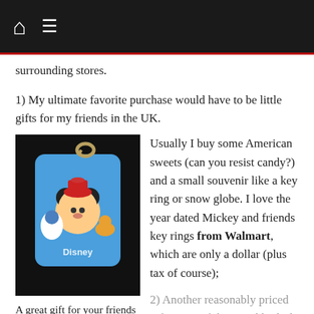navigation bar with home and menu icons
surrounding stores.
1) My ultimate favorite purchase would have to be little gifts for my friends in the UK.
[Figure (photo): A Mickey Mouse and friends Disney keyring tag with colorful characters on a blue background, held by a metal ring, photographed against a dark background.]
A great gift for your friends or for you; you can even get them with the year on them.
Usually I buy some American sweets (can you resist candy?) and a small souvenir like a key ring or snow globe. I love the year dated Mickey and friends key rings from Walmart, which are only a dollar (plus tax of course);
2) Another reasonably priced gift is one of those stubby little Disney character pens with tufts of coloured elastic springing from the top. These are $9.99 at World of Disney or the Emporium in the Magic Kingdom;